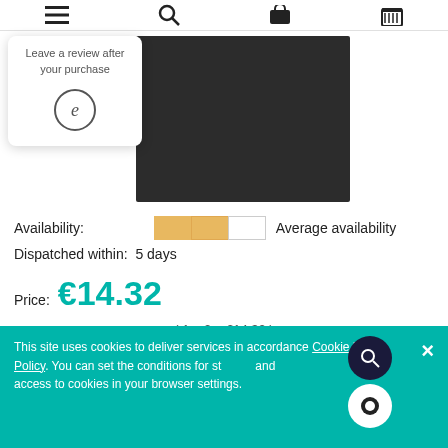Navigation bar with menu, search, and cart icons
[Figure (illustration): Review badge card: Leave a review after your purchase with a circular e-commerce review icon]
[Figure (photo): Product image — dark/black square tile or material swatch]
Availability:  Average availability
Dispatched within:  5 days
Price:  €14.32
( 1 m2 = €14.32 )
incl. 23% TAX, excl. shipping costs
This site uses cookies to deliver services in accordance Cookie Files Policy. You can set the conditions for storing and access to cookies in your browser settings.